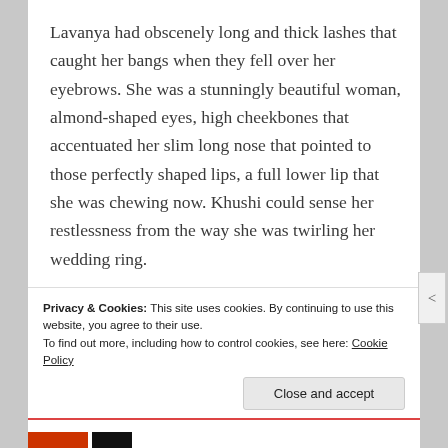Lavanya had obscenely long and thick lashes that caught her bangs when they fell over her eyebrows. She was a stunningly beautiful woman, almond-shaped eyes, high cheekbones that accentuated her slim long nose that pointed to those perfectly shaped lips, a full lower lip that she was chewing now. Khushi could sense her restlessness from the way she was twirling her wedding ring.
Privacy & Cookies: This site uses cookies. By continuing to use this website, you agree to their use.
To find out more, including how to control cookies, see here: Cookie Policy